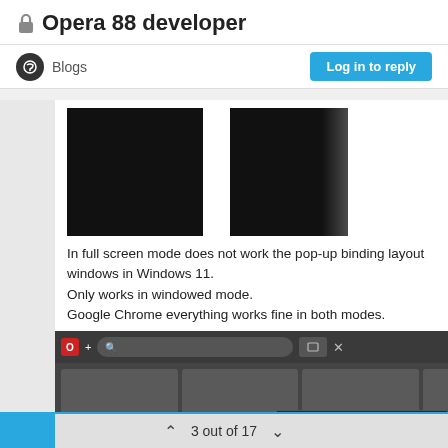🔒Opera 88 developer
Blogs
Log in to reply
[Figure (screenshot): Two dark/black rectangles side by side showing a full screen mode issue in Windows 11 with Opera browser]
In full screen mode does not work the pop-up binding layout windows in Windows 11.
Only works in windowed mode.
Google Chrome everything works fine in both modes.
[Figure (screenshot): Screenshot of Opera browser window layout picker showing a grid of window arrangement options, with a small window chrome visible in the top right corner]
3 out of 17